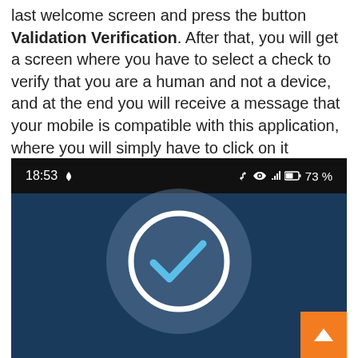last welcome screen and press the button Validation Verification. After that, you will get a screen where you have to select a check to verify that you are a human and not a device, and at the end you will receive a message that your mobile is compatible with this application, where you will simply have to click on it Acceptance.
[Figure (screenshot): Android phone screenshot showing status bar with time 18:53, Bluetooth, WiFi, signal, and 73% battery icons. Below is a dark blue screen with a large circular checkmark icon in the center and an orange scroll-to-top button in the bottom right corner.]